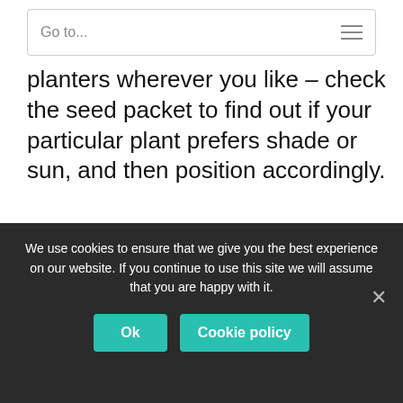Go to...
planters wherever you like – check the seed packet to find out if your particular plant prefers shade or sun, and then position accordingly.
[Figure (infographic): Green oval tip box with white text. Title: TIP: Body: You can try hanging your welly planters up along fences if you're short on floor space.]
We use cookies to ensure that we give you the best experience on our website. If you continue to use this site we will assume that you are happy with it.